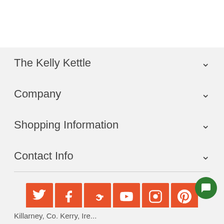The Kelly Kettle
Company
Shopping Information
Contact Info
[Figure (other): Social media icons row: Twitter, Facebook, Google+, YouTube, Instagram, Pinterest — all orange square buttons with white icons]
Killarney, Co. Kerry, Ire...